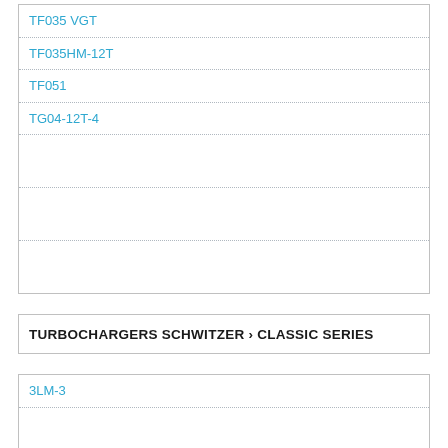TF035 VGT
TF035HM-12T
TF051
TG04-12T-4
TURBOCHARGERS SCHWITZER › CLASSIC SERIES
3LM-3